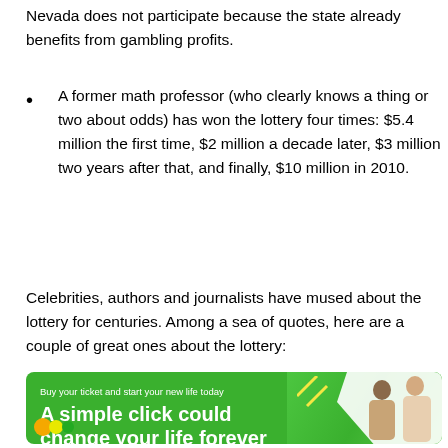Nevada does not participate because the state already benefits from gambling profits.
A former math professor (who clearly knows a thing or two about odds) has won the lottery four times: $5.4 million the first time, $2 million a decade later, $3 million two years after that, and finally, $10 million in 2010.
Celebrities, authors and journalists have mused about the lottery for centuries. Among a sea of quotes, here are a couple of great ones about the lottery:
[Figure (infographic): Green advertisement banner with text 'Buy your ticket and start your new life today' and large headline 'A simple click could change your life forever', with people in background and lottery logo at bottom.]